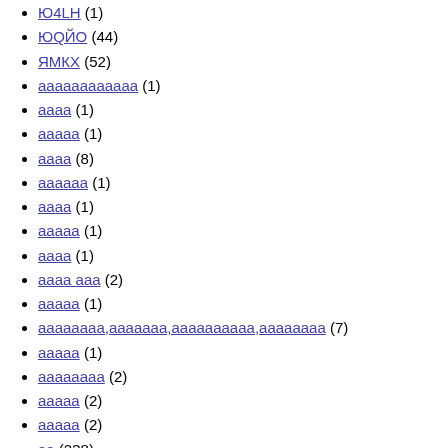Ю4LH (1)
ЮQЙО (44)
ЯМКХ (52)
□□□□□□□□□□□□ (1)
□□□□ (1)
□□□□□ (1)
□□□□ (8)
□□□□□□ (1)
□□□□ (1)
□□□□□ (1)
□□□□ (1)
□□□□ □□□ (2)
□□□□□ (1)
□□□□□□□□,□□□□□□□,□□□□□□□□□□,□□□□□□□□ (7)
□□□□□ (1)
□□□□□□□□ (2)
□□□□□ (2)
□□□□□ (2)
□□ (238)
□□□ (3)
□□□□□□□□ (1)
□□ (186)
□□□□□ (1)
□□□□□□□□□□ (1)
□□□□ (1)